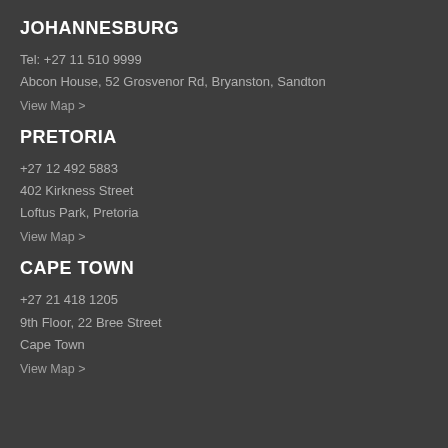JOHANNESBURG
Tel: +27 11 510 9999
Abcon House, 52 Grosvenor Rd, Bryanston, Sandton
View Map >
PRETORIA
+27 12 492 5883
402 Kirkness Street
Loftus Park, Pretoria
View Map >
CAPE TOWN
+27 21 418 1205
9th Floor, 22 Bree Street
Cape Town
View Map >